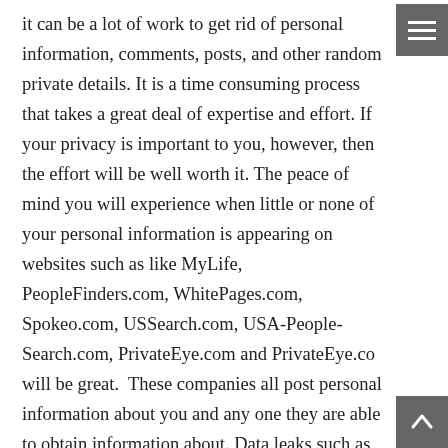it can be a lot of work to get rid of personal information, comments, posts, and other random private details. It is a time consuming process that takes a great deal of expertise and effort. If your privacy is important to you, however, then the effort will be well worth it. The peace of mind you will experience when little or none of your personal information is appearing on websites such as like MyLife, PeopleFinders.com, WhitePages.com, Spokeo.com, USSearch.com, USA-People-Search.com, PrivateEye.com and PrivateEye.co will be great.  These companies all post personal information about you and any one they are able to obtain information about. Data leaks such as your home address, date of birth, salary information, previous addresses and family member names can all show up on these websites. How can you plug the data holes? Using a service that removes private internet information is the